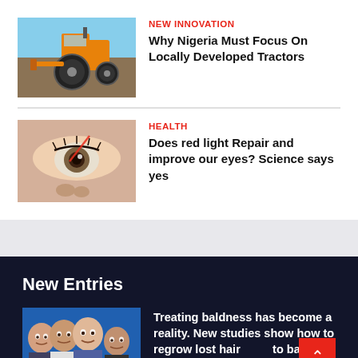[Figure (photo): Orange tractor thumbnail image]
NEW INNOVATION
Why Nigeria Must Focus On Locally Developed Tractors
[Figure (photo): Close-up eye with red light thumbnail image]
HEALTH
Does red light Repair and improve our eyes? Science says yes
New Entries
[Figure (photo): Group of bald men smiling thumbnail image]
Treating baldness has become a reality. New studies show how to regrow lost hair due to balding
August 30, 2022